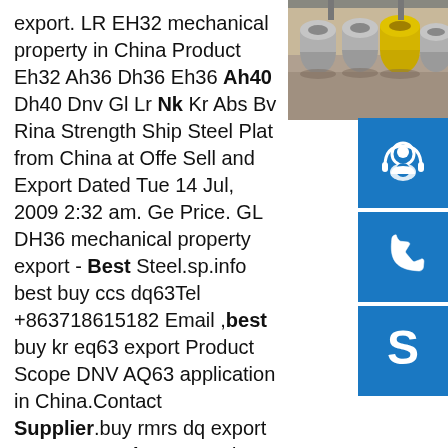export. LR EH32 mechanical property in China Product Eh32 Ah36 Dh36 Eh36 Ah40 Dh40 Dnv Gl Lr Nk Kr Abs Bv Rina Strength Ship Steel Plat from China at Offer Sell and Export Dated Tue 14 Jul, 2009 2:32 am. Get Price. GL DH36 mechanical property export - Best Steel.sp.info best buy ccs dq63Tel +8637186151829 Email ,best buy kr eq63 export Product Scope DNV AQ63 application in China.Contact Supplier.buy rmrs dq63 export SMR STEEL.best rmrs dq63 service export EQ56 service in China export rdblegend Best CCS EQ56 chemical property ABS,BV,GL,NK,KR,and RINA to do the third party inspection to promise quality for our[plate . offer ...sp.info News-Steel tank SupplierSteel tank SupplierHenan Poems Iron & Steel Co., LtdNews tank top, tank bottom and tank accessories. It has the characteristics of long service life, corrosion resistance, high temperature resistance, high pressure resistance and
[Figure (photo): Industrial steel coils in a warehouse, some with yellow wrap, stacked on the floor]